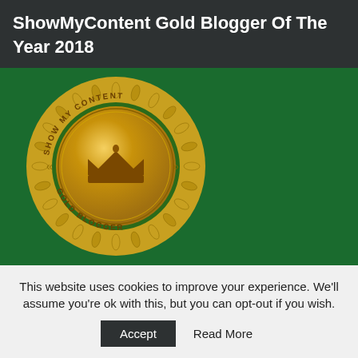ShowMyContent Gold Blogger Of The Year 2018
[Figure (logo): ShowMyContent Gold Blogger badge — a circular gold medal with laurel wreath border, a crown icon in the center, text 'SHOW MY CONTENT' arced along the top and 'GOLD BLOGGER' along the bottom]
This website uses cookies to improve your experience. We'll assume you're ok with this, but you can opt-out if you wish.
Accept   Read More